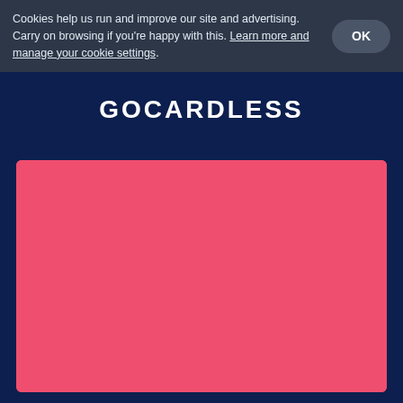Cookies help us run and improve our site and advertising. Carry on browsing if you're happy with this. Learn more and manage your cookie settings.
GOCARDLESS
[Figure (illustration): Pink background with repeating stacked coin pattern with vertical bar symbol inside circles, arranged in a tiled grid layout]